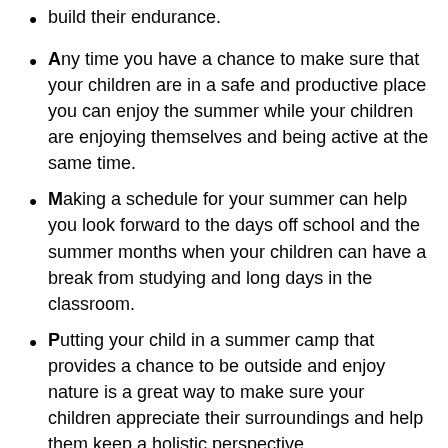build their endurance.
Any time you have a chance to make sure that your children are in a safe and productive place you can enjoy the summer while your children are enjoying themselves and being active at the same time.
Making a schedule for your summer can help you look forward to the days off school and the summer months when your children can have a break from studying and long days in the classroom.
Putting your child in a summer camp that provides a chance to be outside and enjoy nature is a great way to make sure your children appreciate their surroundings and help them keep a holistic perspective.